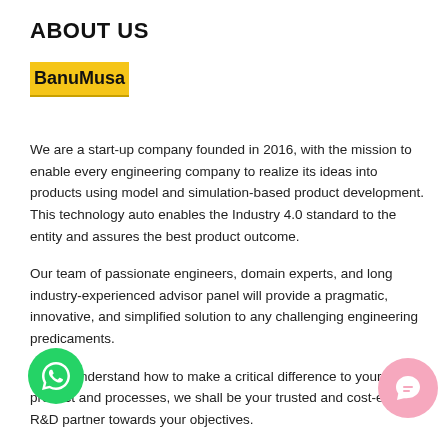ABOUT US
BanuMusa
We are a start-up company founded in 2016, with the mission to enable every engineering company to realize its ideas into products using model and simulation-based product development. This technology auto enables the Industry 4.0 standard to the entity and assures the best product outcome.
Our team of passionate engineers, domain experts, and long industry-experienced advisor panel will provide a pragmatic, innovative, and simplified solution to any challenging engineering predicaments.
We do understand how to make a critical difference to your product and processes, we shall be your trusted and cost-effective R&D partner towards your objectives.
We contribute to up-bring SMEs in Engineering & Manufacturing at par with international players with updated technologies and their affordable cost.